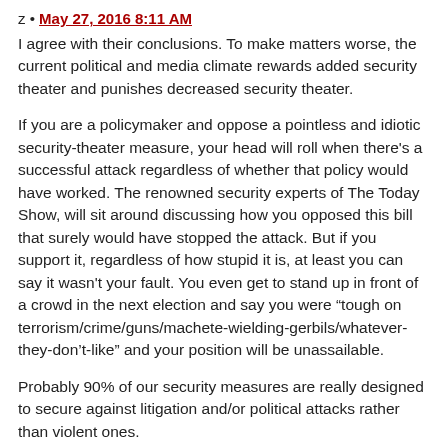z • May 27, 2016 8:11 AM
I agree with their conclusions. To make matters worse, the current political and media climate rewards added security theater and punishes decreased security theater.
If you are a policymaker and oppose a pointless and idiotic security-theater measure, your head will roll when there's a successful attack regardless of whether that policy would have worked. The renowned security experts of The Today Show, will sit around discussing how you opposed this bill that surely would have stopped the attack. But if you support it, regardless of how stupid it is, at least you can say it wasn't your fault. You even get to stand up in front of a crowd in the next election and say you were “tough on terrorism/crime/guns/machete-wielding-gerbils/whatever-they-don’t-like” and your position will be unassailable.
Probably 90% of our security measures are really designed to secure against litigation and/or political attacks rather than violent ones.
Daniel • May 27, 2016 10:21 AM